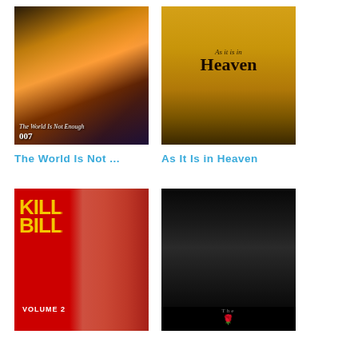[Figure (photo): Movie poster for The World Is Not Enough (James Bond 007 film)]
[Figure (photo): Movie poster for As It Is in Heaven]
The World Is Not ...
As It Is in Heaven
[Figure (photo): Movie poster for Kill Bill Volume 2]
[Figure (photo): Movie poster for The Godfather]